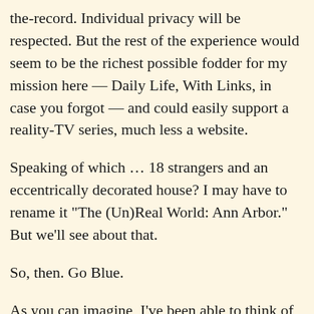the-record. Individual privacy will be respected. But the rest of the experience would seem to be the richest possible fodder for my mission here — Daily Life, With Links, in case you forgot — and could easily support a reality-TV series, much less a website.
Speaking of which … 18 strangers and an eccentrically decorated house? I may have to rename it "The (Un)Real World: Ann Arbor." But we'll see about that.
So, then. Go Blue.
As you can imagine, I've been able to think of little else over the past two days. Forgive